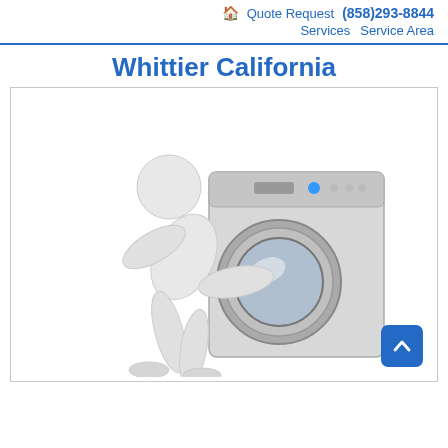🏠 Quote Request (858)293-8844 Services Service Area
Whittier California
[Figure (illustration): A white 3D cartoon figure hugging/leaning on a front-loading washing machine against a white background inside a bordered box. A blue 'back to top' button with a chevron-up arrow is in the bottom-right corner.]